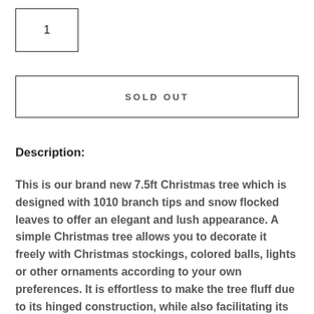1
SOLD OUT
Description:
This is our brand new 7.5ft Christmas tree which is designed with 1010 branch tips and snow flocked leaves to offer an elegant and lush appearance. A simple Christmas tree allows you to decorate it freely with Christmas stockings, colored balls, lights or other ornaments according to your own preferences. It is effortless to make the tree fluff due to its hinged construction, while also facilitating its assemble and storage. Foldable X-shaped iron stand with foot pads prevents breakage and enhances the balance of the tree, providing stability to keep the wondrous